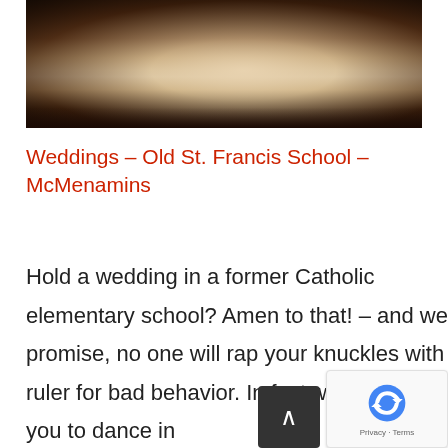[Figure (photo): Wedding photo showing a bride in a white flowing gown and groom walking in a dark church or venue interior]
Weddings – Old St. Francis School – McMenamins
Hold a wedding in a former Catholic elementary school? Amen to that! – and we promise, no one will rap your knuckles with a ruler for bad behavior. In fact, we encourage you to dance in